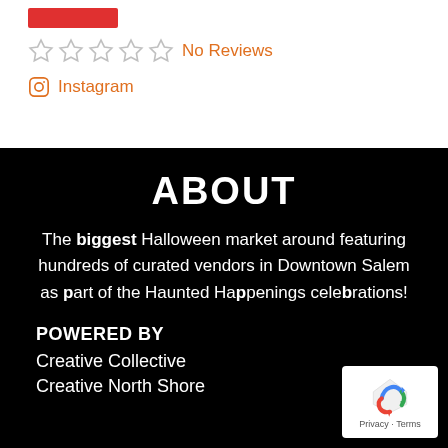[Figure (other): Red bar/button element at top of page]
★★★★★ No Reviews
Instagram
ABOUT
The biggest Halloween market around featuring hundreds of curated vendors in Downtown Salem as part of the Haunted Happenings celebrations!
POWERED BY
Creative Collective
Creative North Shore